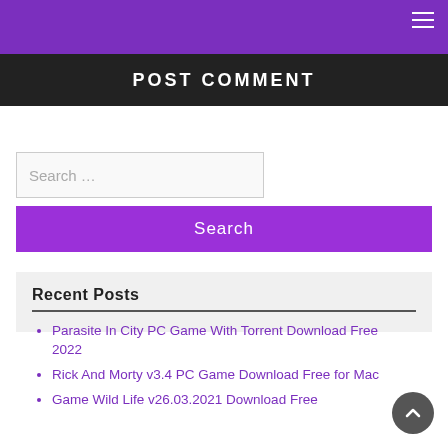POST COMMENT
Search ...
Search
Recent Posts
Parasite In City PC Game With Torrent Download Free 2022
Rick And Morty v3.4 PC Game Download Free for Mac
Game Wild Life v26.03.2021 Download Free